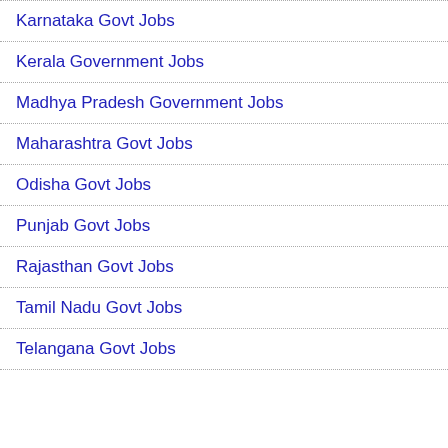Karnataka Govt Jobs
Kerala Government Jobs
Madhya Pradesh Government Jobs
Maharashtra Govt Jobs
Odisha Govt Jobs
Punjab Govt Jobs
Rajasthan Govt Jobs
Tamil Nadu Govt Jobs
Telangana Govt Jobs